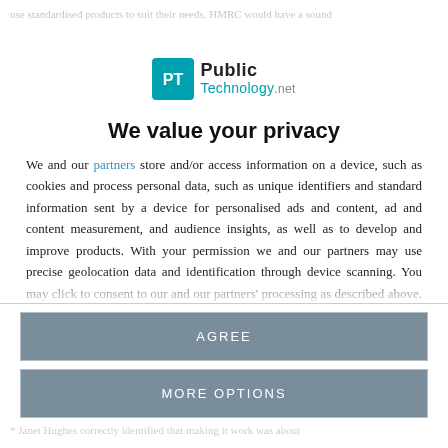use standardised products to suit their needs. HMRC would have a sound
[Figure (logo): PublicTechnology.net logo — speech bubble icon in teal with 'PT' initials, followed by 'Public Technology.net' text]
We value your privacy
We and our partners store and/or access information on a device, such as cookies and process personal data, such as unique identifiers and standard information sent by a device for personalised ads and content, ad and content measurement, and audience insights, as well as to develop and improve products. With your permission we and our partners may use precise geolocation data and identification through device scanning. You may click to consent to our and our partners' processing as described above. Alternatively you may access more
AGREE
MORE OPTIONS
* Janet Hughes correctly identified that making it work was about